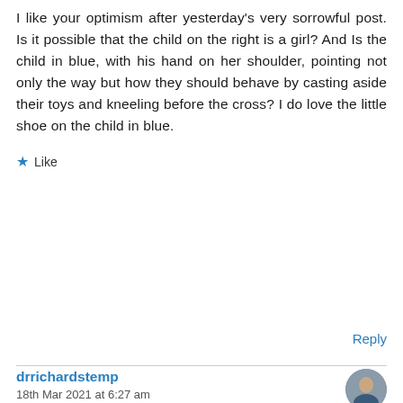I like your optimism after yesterday's very sorrowful post. Is it possible that the child on the right is a girl? And Is the child in blue, with his hand on her shoulder, pointing not only the way but how they should behave by casting aside their toys and kneeling before the cross? I do love the little shoe on the child in blue.
★ Like
Reply
drrichardstemp
18th Mar 2021 at 6:27 am